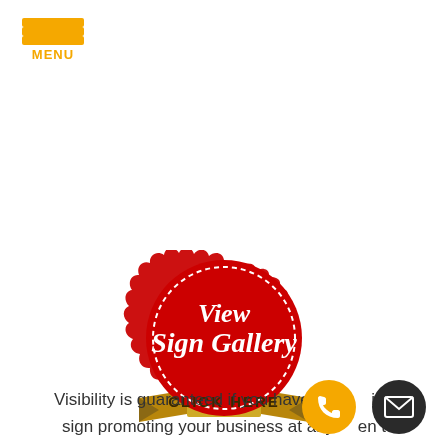MENU
[Figure (logo): Red seal/badge with scalloped edge, white dashed inner border. Text reads 'View Sign Gallery' in white cursive script. Gold ribbon banner at bottom reads 'CLICK HERE' in bold uppercase letters.]
Visibility is guaranteed if you have an illuminated sign promoting your business at any given t